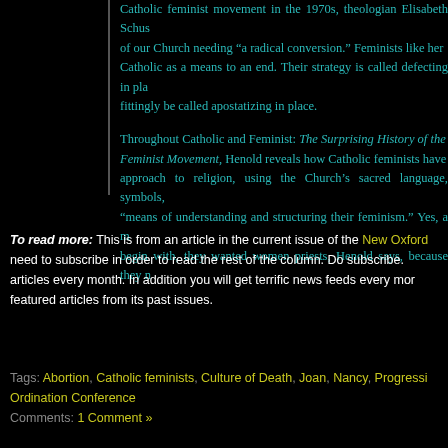Catholic feminist movement in the 1970s, theologian Elisabeth Schus of our Church needing "a radical conversion." Feminists like her Catholic as a means to an end. Their strategy is called defecting in pla fittingly be called apostatizing in place.
Throughout Catholic and Feminist: The Surprising History of the Feminist Movement, Henold reveals how Catholic feminists have approach to religion, using the Church's sacred language, symbols, "means of understanding and structuring their feminism." Yes, a m begin with, they wanted women priests, Henold says, because they n
To read more: This is from an article in the current issue of the New Oxford need to subscribe in order to read the rest of the column. Do subscribe. articles every month. In addition you will get terrific news feeds every mor featured articles from its past issues.
Tags: Abortion, Catholic feminists, Culture of Death, Joan, Nancy, Progressi Ordination Conference
Comments: 1 Comment »